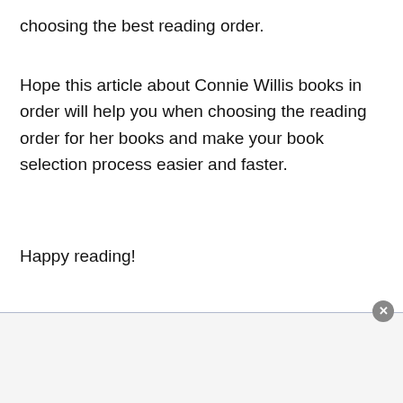choosing the best reading order.
Hope this article about Connie Willis books in order will help you when choosing the reading order for her books and make your book selection process easier and faster.
Happy reading!
[Figure (other): Advertisement banner at the bottom of the page with a close button (×) in the top-right corner]